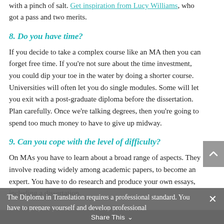with a pinch of salt. Get inspiration from Lucy Williams, who got a pass and two merits.
8. Do you have time?
If you decide to take a complex course like an MA then you can forget free time. If you're not sure about the time investment, you could dip your toe in the water by doing a shorter course. Universities will often let you do single modules. Some will let you exit with a post-graduate diploma before the dissertation. Plan carefully. Once we're talking degrees, then you're going to spend too much money to have to give up midway.
9. Can you cope with the level of difficulty?
On MAs you have to learn about a broad range of aspects. They involve reading widely among academic papers, to become an expert. You have to do research and produce your own essays, including a dissertation.
The Diploma in Translation requires a professional standard. You have to prepare yourself and develop professional